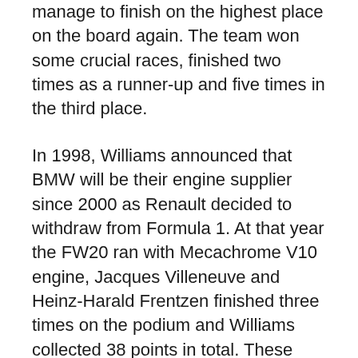manage to finish on the highest place on the board again. The team won some crucial races, finished two times as a runner-up and five times in the third place.
In 1998, Williams announced that BMW will be their engine supplier since 2000 as Renault decided to withdraw from Formula 1. At that year the FW20 ran with Mecachrome V10 engine, Jacques Villeneuve and Heinz-Harald Frentzen finished three times on the podium and Williams collected 38 points in total. These points were enough to secure them the third place.
In BMW's debut as an engine supplier, Ralf Schumacher and Jenson Button scored 36 points combined. Schumacher led the...